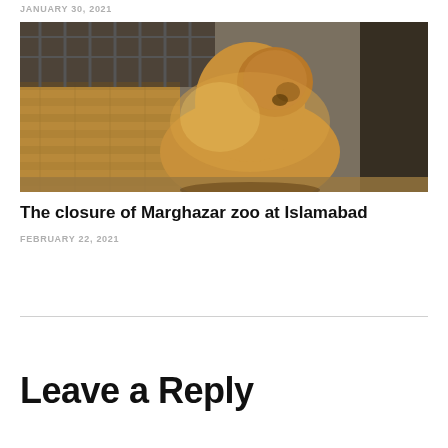JANUARY 30, 2021
[Figure (photo): A brown bear standing in a zoo enclosure with brick walls and metal cage bars in the background, sunlit scene]
The closure of Marghazar zoo at Islamabad
FEBRUARY 22, 2021
Leave a Reply